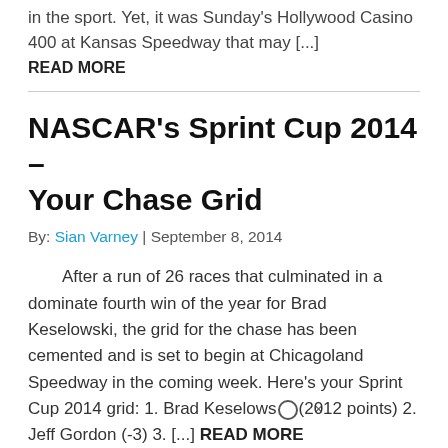in the sport. Yet, it was Sunday's Hollywood Casino 400 at Kansas Speedway that may [...]
READ MORE
NASCAR's Sprint Cup 2014 – Your Chase Grid
By: Sian Varney | September 8, 2014
After a run of 26 races that culminated in a dominate fourth win of the year for Brad Keselowski, the grid for the chase has been cemented and is set to begin at Chicagoland Speedway in the coming week. Here's your Sprint Cup 2014 grid: 1. Brad Keselowski (2012 points) 2. Jeff Gordon (-3) 3. [...] READ MORE